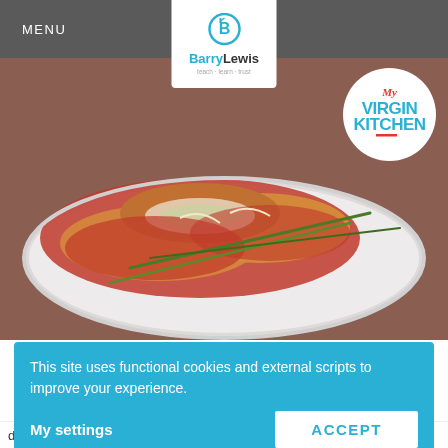MENU
[Figure (logo): Barry Lewis logo with fork icon and tagline 'teach learn trust']
[Figure (photo): Stuffed chicken breasts covered in tomato sauce on a white plate, garnished with chives, with My Virgin Kitchen badge in top right]
This site uses functional cookies and external scripts to improve your experience.
My settings
ACCEPT
drizzle of honey do go rather well with them.